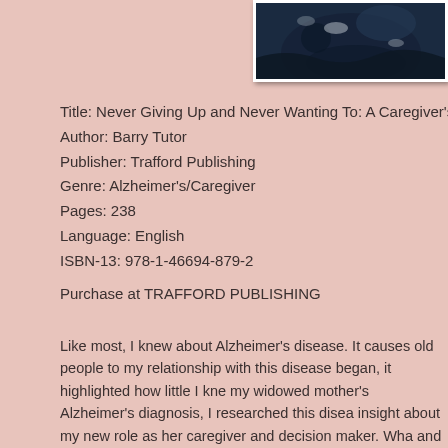[Figure (photo): Partial book cover image showing a dark blue/navy scene, cropped at top-right corner]
Title: Never Giving Up and Never Wanting To: A Caregiver's Journey
Author: Barry Tutor
Publisher: Trafford Publishing
Genre: Alzheimer's/Caregiver
Pages: 238
Language: English
ISBN-13: 978-1-46694-879-2
Purchase at TRAFFORD PUBLISHING
Like most, I knew about Alzheimer's disease. It causes old people to... my relationship with this disease began, it highlighted how little I kne... my widowed mother's Alzheimer's diagnosis, I researched this disea... insight about my new role as her caregiver and decision maker. Wha... and experienced during her affliction still left me somewhat unprepar... was yet to come.
Sixteen months following my mother's diagnosis, my dear wife